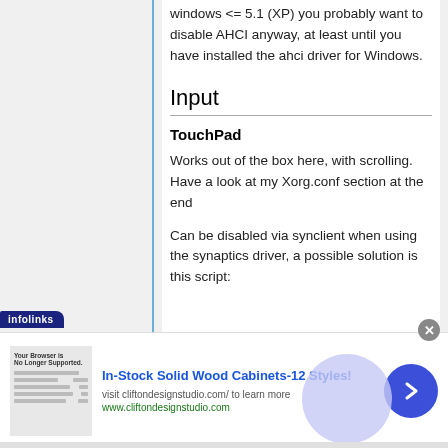windows <= 5.1 (XP) you probably want to disable AHCI anyway, at least until you have installed the ahci driver for Windows.
Input
TouchPad
Works out of the box here, with scrolling. Have a look at my Xorg.conf section at the end
Can be disabled via synclient when using the synaptics driver, a possible solution is this script:
[Figure (infographic): Advertisement banner: In-Stock Solid Wood Cabinets-12 Styles! visit cliftondesignstudio.com/ to learn more www.cliftondesignstudio.com with infolinks badge and close button]